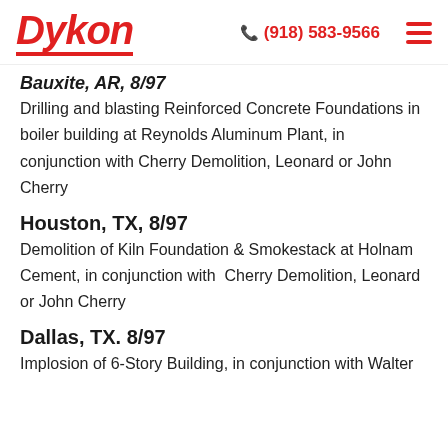Dykon | (918) 583-9566
Bauxite, AR, 8/97
Drilling and blasting Reinforced Concrete Foundations in boiler building at Reynolds Aluminum Plant, in conjunction with Cherry Demolition, Leonard or John Cherry
Houston, TX, 8/97
Demolition of Kiln Foundation & Smokestack at Holnam Cement, in conjunction with Cherry Demolition, Leonard or John Cherry
Dallas, TX. 8/97
Implosion of 6-Story Building, in conjunction with Walter